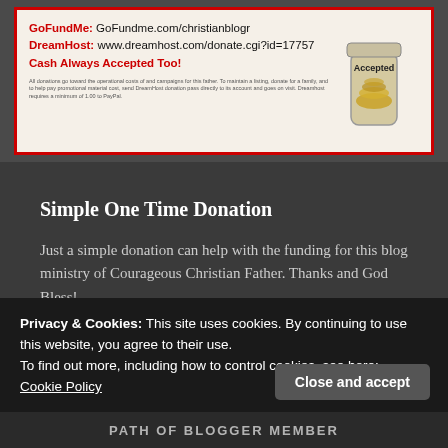[Figure (infographic): Donation banner with red border on cream background showing GoFundMe and DreamHost donation links in red bold text, Cash Always Accepted Too message, fine print disclaimer, and a coin jar image on the right with 'Accepted' text]
Simple One Time Donation
Just a simple donation can help with the funding for this blog ministry of Courageous Christian Father. Thanks and God Bless!
$1.00
Privacy & Cookies: This site uses cookies. By continuing to use this website, you agree to their use.
To find out more, including how to control cookies, see here:
Cookie Policy
Close and accept
PATHOFBLOGGERMEMBER